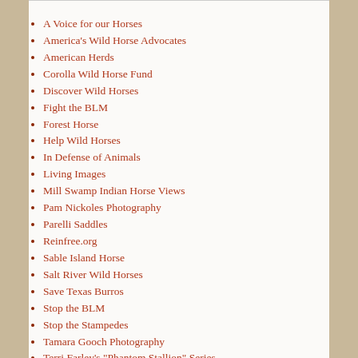A Voice for our Horses
America's Wild Horse Advocates
American Herds
Corolla Wild Horse Fund
Discover Wild Horses
Fight the BLM
Forest Horse
Help Wild Horses
In Defense of Animals
Living Images
Mill Swamp Indian Horse Views
Pam Nickoles Photography
Parelli Saddles
Reinfree.org
Sable Island Horse
Salt River Wild Horses
Save Texas Burros
Stop the BLM
Stop the Stampedes
Tamara Gooch Photography
Terri Farley's "Phantom Stallion" Series